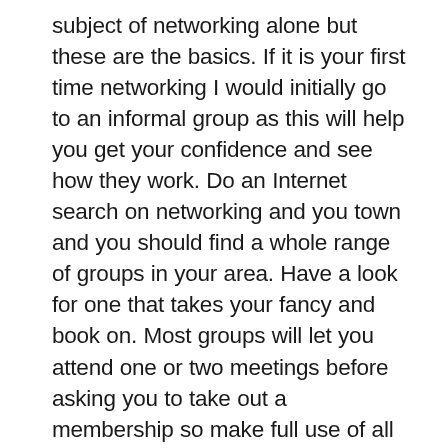subject of networking alone but these are the basics. If it is your first time networking I would initially go to an informal group as this will help you get your confidence and see how they work. Do an Internet search on networking and you town and you should find a whole range of groups in your area. Have a look for one that takes your fancy and book on. Most groups will let you attend one or two meetings before asking you to take out a membership so make full use of all the free trails until you find a group that you like. Some groups are free but you will find that those that charge a membership fee are often more formal business networking groups and produce more clients and referrals.